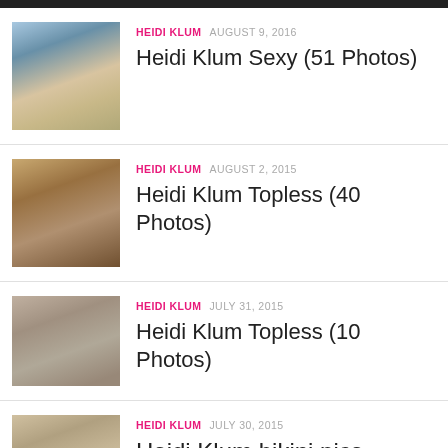[Figure (photo): Thumbnail photo of Heidi Klum at the beach in a bikini, playing with a ball]
HEIDI KLUM  AUGUST 9, 2016
Heidi Klum Sexy (51 Photos)
[Figure (photo): Thumbnail photo of Heidi Klum topless on a beach with a hat]
HEIDI KLUM  AUGUST 2, 2015
Heidi Klum Topless (40 Photos)
[Figure (photo): Thumbnail photo of Heidi Klum topless on a rocky beach]
HEIDI KLUM  JULY 31, 2015
Heidi Klum Topless (10 Photos)
[Figure (photo): Thumbnail photo of Heidi Klum in bikini with sunglasses and hat]
HEIDI KLUM  JULY 30, 2015
Heidi Klum bikini pics